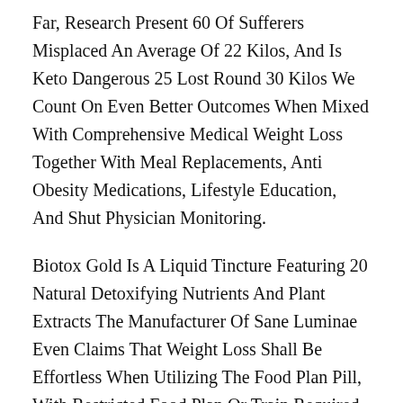Far, Research Present 60 Of Sufferers Misplaced An Average Of 22 Kilos, And Is Keto Dangerous 25 Lost Round 30 Kilos We Count On Even Better Outcomes When Mixed With Comprehensive Medical Weight Loss Together With Meal Replacements, Anti Obesity Medications, Lifestyle Education, And Shut Physician Monitoring.
Biotox Gold Is A Liquid Tincture Featuring 20 Natural Detoxifying Nutrients And Plant Extracts The Manufacturer Of Sane Luminae Even Claims That Weight Loss Shall Be Effortless When Utilizing The Food Plan Pill, With Restricted Food Plan Or Train Required Taking Phenq Every Day Can Purportedly Burn Stored Fats, Block Fats Production, Suppress Appetite, And Improve Mood And Is Keto Dangerous Power Levels, Amongst Other